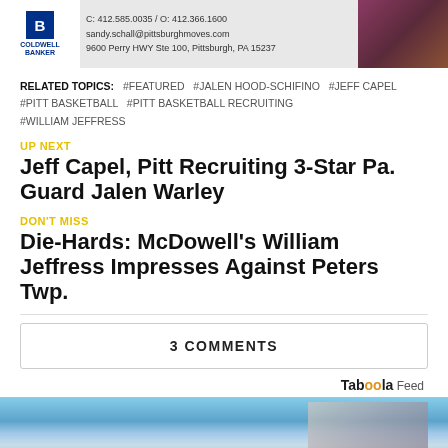[Figure (photo): Coldwell Banker real estate advertisement banner with logo, contact info, and agent photo]
RELATED TOPICS: #FEATURED #JALEN HOOD-SCHIFINO #JEFF CAPEL #PITT BASKETBALL #PITT BASKETBALL RECRUITING #WILLIAM JEFFRESS
UP NEXT
Jeff Capel, Pitt Recruiting 3-Star Pa. Guard Jalen Warley
DON'T MISS
Die-Hards: McDowell's William Jeffress Impresses Against Peters Twp.
3 COMMENTS
Taboola Feed
[Figure (photo): Person installing or repairing window trim on house exterior]